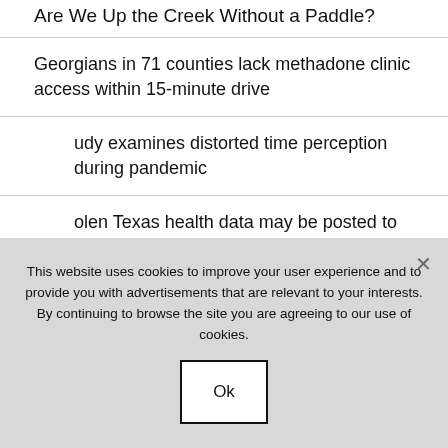Are We Up the Creek Without a Paddle?
Georgians in 71 counties lack methadone clinic access within 15-minute drive
…udy examines distorted time perception during pandemic
…olen Texas health data may be posted to the dark web
PREVIOUS POST
NEXT POST
This website uses cookies to improve your user experience and to provide you with advertisements that are relevant to your interests. By continuing to browse the site you are agreeing to our use of cookies.
Ok